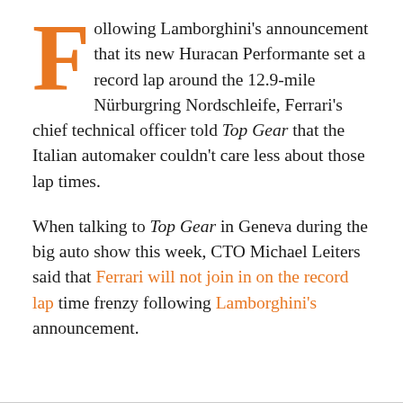Following Lamborghini's announcement that its new Huracan Performante set a record lap around the 12.9-mile Nürburgring Nordschleife, Ferrari's chief technical officer told Top Gear that the Italian automaker couldn't care less about those lap times.
When talking to Top Gear in Geneva during the big auto show this week, CTO Michael Leiters said that Ferrari will not join in on the record lap time frenzy following Lamborghini's announcement.